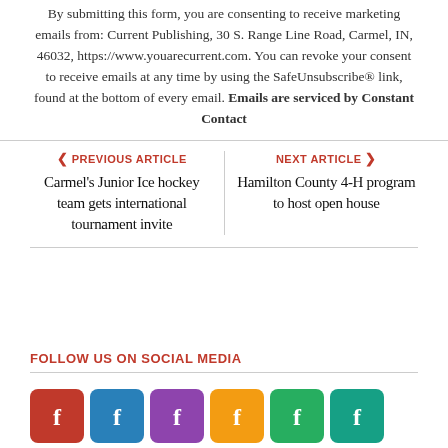By submitting this form, you are consenting to receive marketing emails from: Current Publishing, 30 S. Range Line Road, Carmel, IN, 46032, https://www.youarecurrent.com. You can revoke your consent to receive emails at any time by using the SafeUnsubscribe® link, found at the bottom of every email. Emails are serviced by Constant Contact
PREVIOUS ARTICLE
Carmel's Junior Ice hockey team gets international tournament invite
NEXT ARTICLE
Hamilton County 4-H program to host open house
FOLLOW US ON SOCIAL MEDIA
[Figure (illustration): Row of six colored Facebook-style social media icon buttons: red, blue, purple, yellow/gold, green, teal]